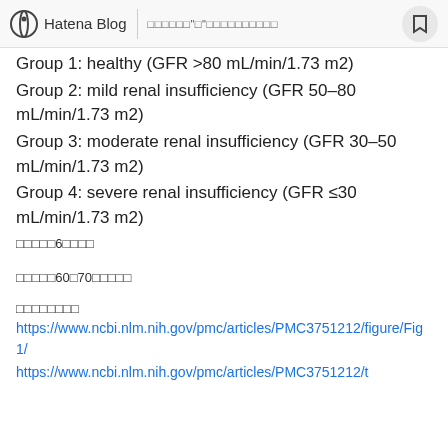Hatena Blog | □□□□□□"□"□□□□□□□□□□
Group 1: healthy (GFR >80 mL/min/1.73 m2)
Group 2: mild renal insufficiency (GFR 50–80 mL/min/1.73 m2)
Group 3: moderate renal insufficiency (GFR 30–50 mL/min/1.73 m2)
Group 4: severe renal insufficiency (GFR ≤30 mL/min/1.73 m2)
□□□□□6□□□□
□□□□□60□70□□□□□
□□□□□□□□
https://www.ncbi.nlm.nih.gov/pmc/articles/PMC3751212/figure/Fig1/
https://www.ncbi.nlm.nih.gov/pmc/articles/PMC3751212/t